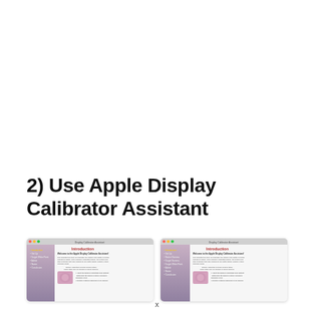2) Use Apple Display Calibrator Assistant
[Figure (screenshot): Two side-by-side screenshots of the Apple Display Calibrator Assistant application showing the Introduction screen with sidebar navigation and introductory text.]
x